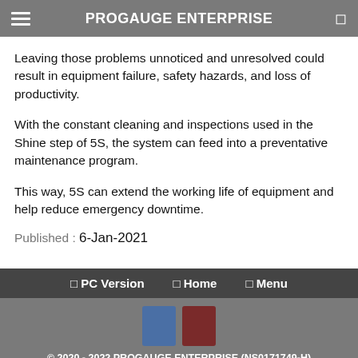PROGAUGE ENTERPRISE
Leaving those problems unnoticed and unresolved could result in equipment failure, safety hazards, and loss of productivity.
With the constant cleaning and inspections used in the Shine step of 5S, the system can feed into a preventative maintenance program.
This way, 5S can extend the working life of equipment and help reduce emergency downtime.
Published : 6-Jan-2021
PC Version   Home   Menu
© 2020 - 2022 PROGAUGE ENTERPRISE (NS0171749-H)
Privacy Policy
Powered by NEWPAGES
Visitors: 117054